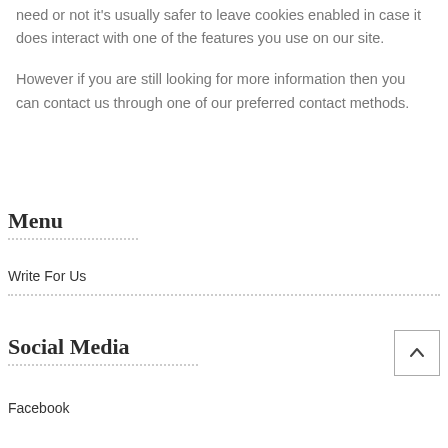need or not it's usually safer to leave cookies enabled in case it does interact with one of the features you use on our site.
However if you are still looking for more information then you can contact us through one of our preferred contact methods.
Menu
Write For Us
Social Media
Facebook